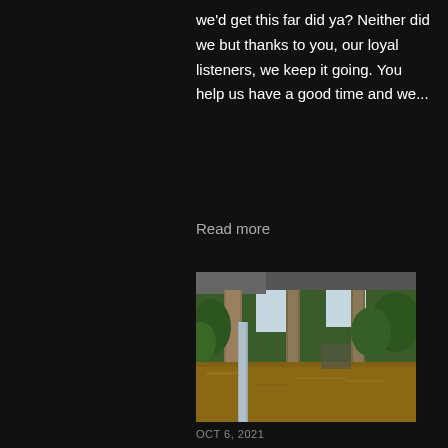we'd get this far did ya? Neither did we but thanks to you, our loyal listeners, we keep it going. You help us have a good time and we...
Read more
[Figure (photo): Outdoor flood scene viewed from under a roof overhang. Three tall trees stand in murky brown floodwater. Green foliage visible in the background. A structure or sign is partially submerged. Sky is overcast/light blue.]
OCT 6, 2021